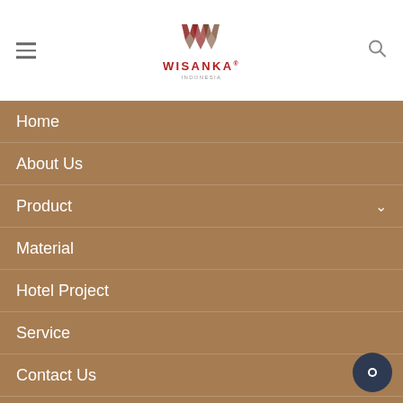[Figure (logo): Wisanka Indonesia logo — stylized W mark in dark red/brown chevron pattern above the text WISANKA in red and INDONESIA in grey]
Home
About Us
Product
Material
Hotel Project
Service
Contact Us
News And Article
OTHER WEBSITE
Indonesia Furnitu…